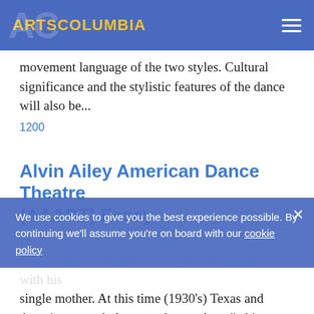ARTSCOLUMBIA
movement language of the two styles. Cultural significance and the stylistic features of the dance will also be...
1200
Alvin Ailey American Dance Theatre (AAADT) Essay
We use cookies to give you the best experience possible. By continuing we'll assume you're on board with our cookie policy
D... heavily racist America. Ailey grew up in Texas with his single mother. At this time (1930's) Texas and America as a whole were places where “white was right □ and segregation was at large. He moved from...
1200